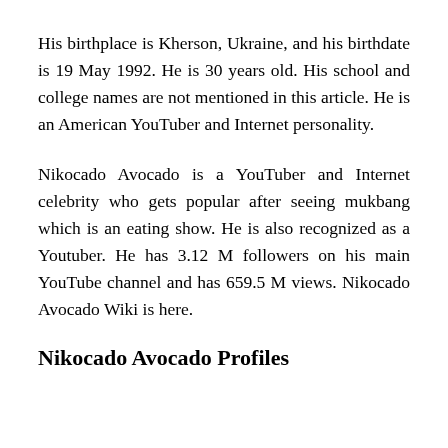His birthplace is Kherson, Ukraine, and his birthdate is 19 May 1992. He is 30 years old. His school and college names are not mentioned in this article. He is an American YouTuber and Internet personality.
Nikocado Avocado is a YouTuber and Internet celebrity who gets popular after seeing mukbang which is an eating show. He is also recognized as a Youtuber. He has 3.12 M followers on his main YouTube channel and has 659.5 M views. Nikocado Avocado Wiki is here.
Nikocado Avocado Profiles